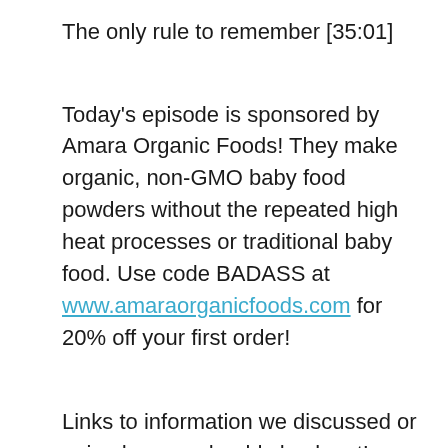The only rule to remember [35:01]
Today's episode is sponsored by Amara Organic Foods! They make organic, non-GMO baby food powders without the repeated high heat processes or traditional baby food. Use code BADASS at www.amaraorganicfoods.com for 20% off your first order!
Links to information we discussed or episodes you should check out!